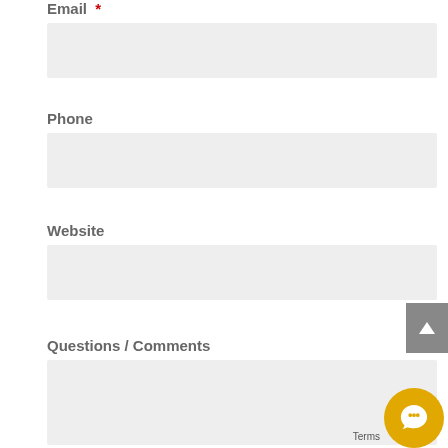Email *
Phone
Website
Questions / Comments